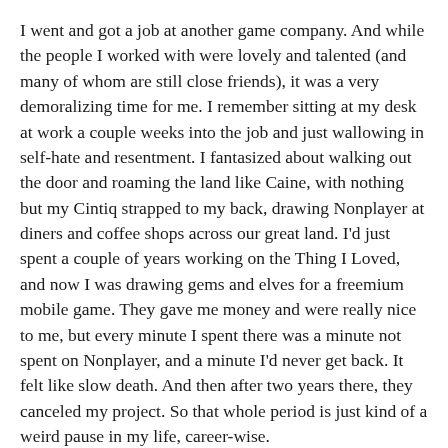I went and got a job at another game company. And while the people I worked with were lovely and talented (and many of whom are still close friends), it was a very demoralizing time for me. I remember sitting at my desk at work a couple weeks into the job and just wallowing in self-hate and resentment. I fantasized about walking out the door and roaming the land like Caine, with nothing but my Cintiq strapped to my back, drawing Nonplayer at diners and coffee shops across our great land. I'd just spent a couple of years working on the Thing I Loved, and now I was drawing gems and elves for a freemium mobile game. They gave me money and were really nice to me, but every minute I spent there was a minute not spent on Nonplayer, and a minute I'd never get back. It felt like slow death. And then after two years there, they canceled my project. So that whole period is just kind of a weird pause in my life, career-wise.
It was during that time that I started working on Nonplayer in the very early morning hours. I joined the Holy Order of Viking Draftspeople, a group of other artists who were also working on personal projects in the wee hours of the morning (see #HOVD on Twitter -- lots of people there still working on rad stuff). Progress